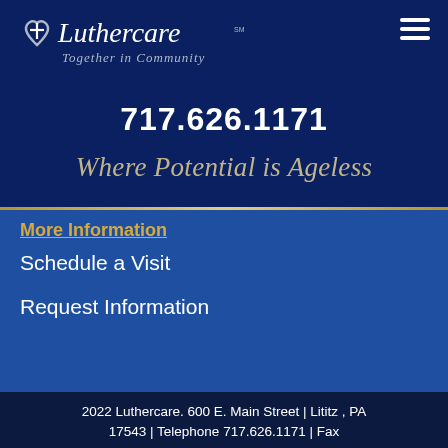[Figure (logo): Luthercare logo with cross-heart symbol and tagline 'Together in Community']
717.626.1171
Where Potential is Ageless
More information
Schedule a Visit
Request Information
2022 Luthercare. 600 E. Main Street | Lititz , PA 17543 | Telephone 717.626.1171 | Fax